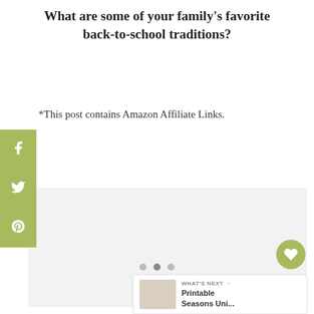What are some of your family's favorite back-to-school traditions?
*This post contains Amazon Affiliate Links.
[Figure (screenshot): Social media share sidebar with Facebook, Twitter, and Pinterest icons on a green background]
[Figure (screenshot): Gray content card area with dots navigation indicator and heart/share action buttons]
WHAT'S NEXT → Printable Seasons Uni...